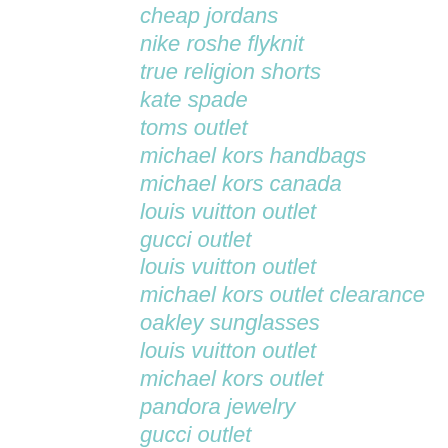cheap jordans
nike roshe flyknit
true religion shorts
kate spade
toms outlet
michael kors handbags
michael kors canada
louis vuitton outlet
gucci outlet
louis vuitton outlet
michael kors outlet clearance
oakley sunglasses
louis vuitton outlet
michael kors outlet
pandora jewelry
gucci outlet
louis vuitton
coach outlet store online
louis vuitton
oakley sunglasses
juicy couture
hollister clothing